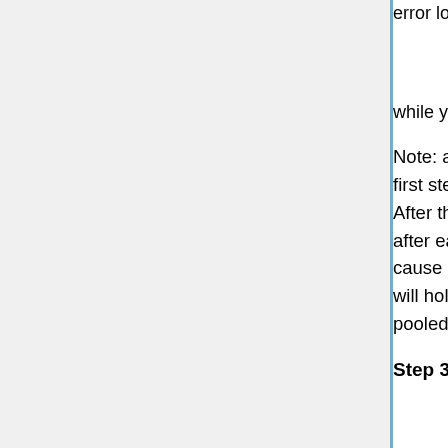error logs during deployment, run scap deploy-log from /srv/deployment/analytics/a while you deploy.
Note: after T156049 scap will deploy only to aqs1010 (or deployment-aqs01 in case of beta) as first step (canary) and it will ask for confirmation before proceeding to the rest of the cluster. After that, it will deploy to one host at the time serially. You can force scap to ask for confirmation after each host or not, but telling him to proceed to all the other hosts (after the canary) will not cause a deployment to all of them at the same time, since the previously mentioned constraint will hold. Each host will be de-pooled from the load-balancer before the aqs restart, and re-pooled after that.
Step 3: Test